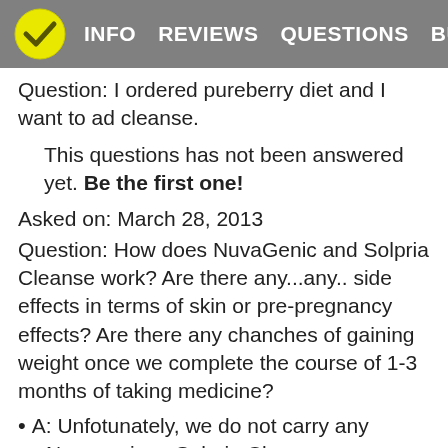INFO  REVIEWS  QUESTIONS  BUY
Question: I ordered pureberry diet and I want to ad cleanse.
This questions has not been answered yet. Be the first one!
Asked on: March 28, 2013
Question: How does NuvaGenic and Solpria Cleanse work? Are there any...any.. side effects in terms of skin or pre-pregnancy effects? Are there any chanches of gaining weight once we complete the course of 1-3 months of taking medicine?
A: Unfotunately, we do not carry any
Nuvagenic or Solpria Cleanse...